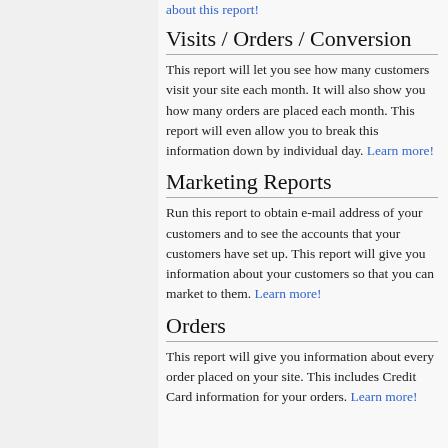about this report!
Visits / Orders / Conversion
This report will let you see how many customers visit your site each month. It will also show you how many orders are placed each month. This report will even allow you to break this information down by individual day. Learn more!
Marketing Reports
Run this report to obtain e-mail address of your customers and to see the accounts that your customers have set up. This report will give you information about your customers so that you can market to them. Learn more!
Orders
This report will give you information about every order placed on your site. This includes Credit Card information for your orders. Learn more!